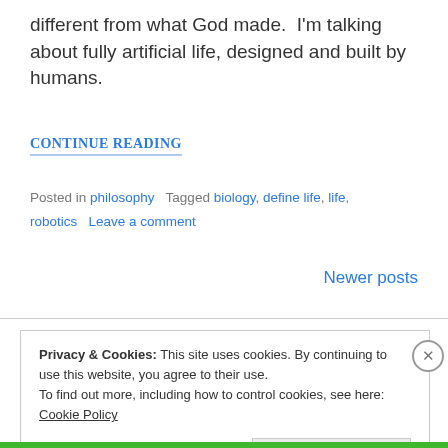different from what God made.  I'm talking about fully artificial life, designed and built by humans.
CONTINUE READING
Posted in philosophy   Tagged biology, define life, life, robotics   Leave a comment
Newer posts
Privacy & Cookies: This site uses cookies. By continuing to use this website, you agree to their use. To find out more, including how to control cookies, see here: Cookie Policy
Close and accept